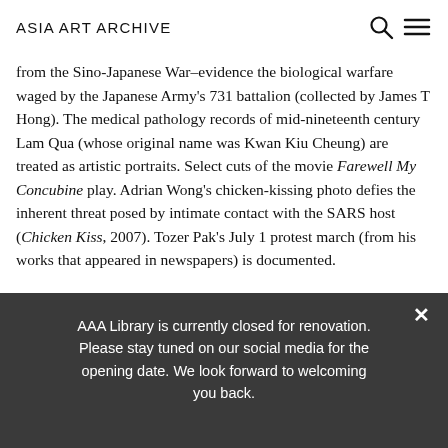ASIA ART ARCHIVE
from the Sino-Japanese War–evidence the biological warfare waged by the Japanese Army's 731 battalion (collected by James T Hong). The medical pathology records of mid-nineteenth century Lam Qua (whose original name was Kwan Kiu Cheung) are treated as artistic portraits. Select cuts of the movie Farewell My Concubine play. Adrian Wong's chicken-kissing photo defies the inherent threat posed by intimate contact with the SARS host (Chicken Kiss, 2007). Tozer Pak's July 1 protest march (from his works that appeared in newspapers) is documented.
AAA Library is currently closed for renovation. Please stay tuned on our social media for the opening date. We look forward to welcoming you back.